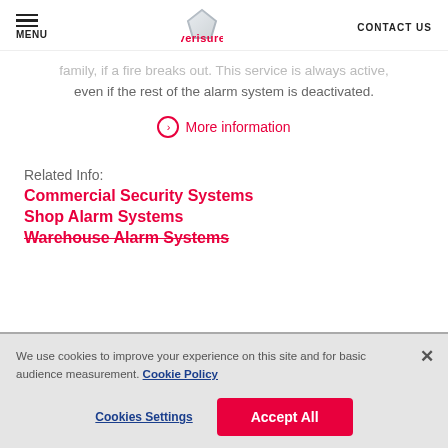MENU | verisure | CONTACT US
family, if a fire breaks out. This service is always active, even if the rest of the alarm system is deactivated.
More information
Related Info:
Commercial Security Systems
Shop Alarm Systems
Warehouse Alarm Systems
We use cookies to improve your experience on this site and for basic audience measurement. Cookie Policy
Cookies Settings | Accept All